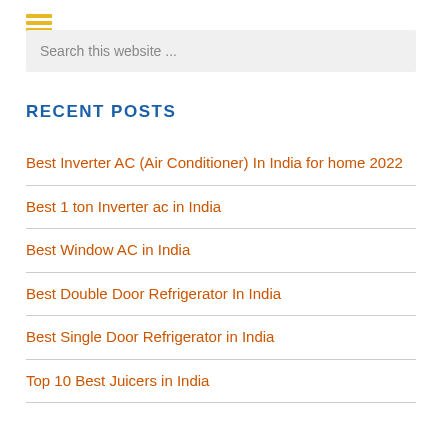Search this website ...
RECENT POSTS
Best Inverter AC (Air Conditioner) In India for home 2022
Best 1 ton Inverter ac in India
Best Window AC in India
Best Double Door Refrigerator In India
Best Single Door Refrigerator in India
Top 10 Best Juicers in India